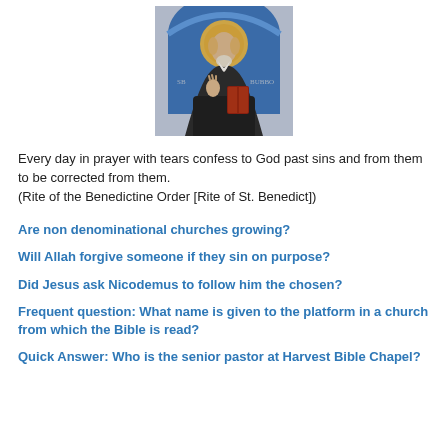[Figure (photo): Medieval fresco or painting of a robed saint (St. Benedict) with a halo, holding a book, on a blue background with an arch.]
Every day in prayer with tears confess to God past sins and from them to be corrected from them.
(Rite of the Benedictine Order [Rite of St. Benedict])
Are non denominational churches growing?
Will Allah forgive someone if they sin on purpose?
Did Jesus ask Nicodemus to follow him the chosen?
Frequent question: What name is given to the platform in a church from which the Bible is read?
Quick Answer: Who is the senior pastor at Harvest Bible Chapel?